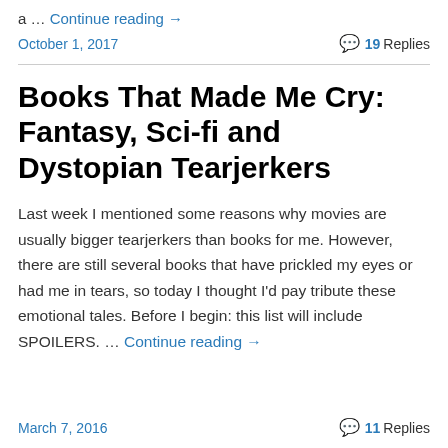a … Continue reading →
October 1, 2017   💬 19 Replies
Books That Made Me Cry: Fantasy, Sci-fi and Dystopian Tearjerkers
Last week I mentioned some reasons why movies are usually bigger tearjerkers than books for me. However, there are still several books that have prickled my eyes or had me in tears, so today I thought I'd pay tribute these emotional tales. Before I begin: this list will include SPOILERS. … Continue reading →
March 7, 2016   💬 11 Replies